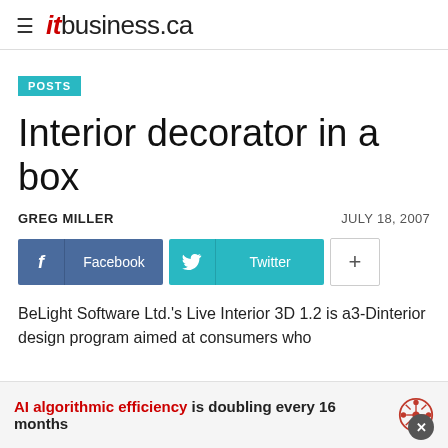itbusiness.ca
POSTS
Interior decorator in a box
GREG MILLER    JULY 18, 2007
[Figure (other): Social sharing buttons: Facebook, Twitter, and a plus button]
BeLight Software Ltd.'s Live Interior 3D 1.2 is a3-Dinterior design program aimed at consumers who
AI algorithmic efficiency is doubling every 16 months